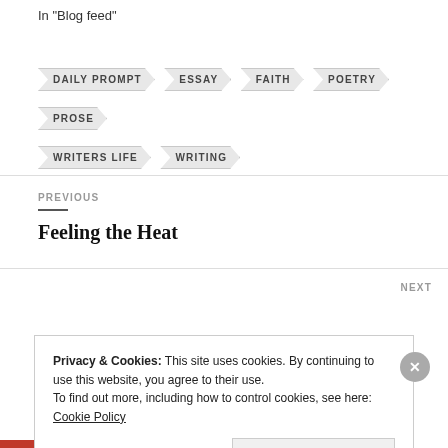In "Blog feed"
DAILY PROMPT
ESSAY
FAITH
POETRY
PROSE
WRITERS LIFE
WRITING
PREVIOUS
Feeling the Heat
NEXT
Privacy & Cookies: This site uses cookies. By continuing to use this website, you agree to their use.
To find out more, including how to control cookies, see here: Cookie Policy
Close and accept